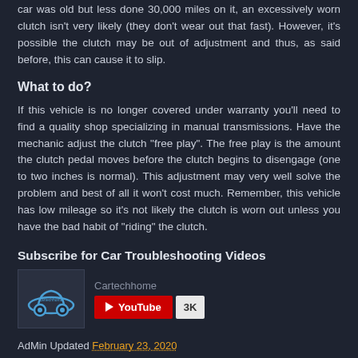car was old but less done 30,000 miles on it, an excessively worn clutch isn't very likely (they don't wear out that fast). However, it's possible the clutch may be out of adjustment and thus, as said before, this can cause it to slip.
What to do?
If this vehicle is no longer covered under warranty you'll need to find a quality shop specializing in manual transmissions. Have the mechanic adjust the clutch "free play". The free play is the amount the clutch pedal moves before the clutch begins to disengage (one to two inches is normal). This adjustment may very well solve the problem and best of all it won't cost much. Remember, this vehicle has low mileage so it's not likely the clutch is worn out unless you have the bad habit of "riding" the clutch.
Subscribe for Car Troubleshooting Videos
[Figure (logo): Cartechhome logo with a car icon (blue car outline with wheels)]
AdMin Updated February 23, 2020